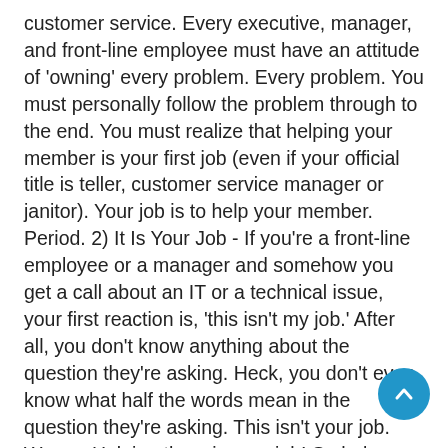customer service. Every executive, manager, and front-line employee must have an attitude of 'owning' every problem. Every problem. You must personally follow the problem through to the end. You must realize that helping your member is your first job (even if your official title is teller, customer service manager or janitor). Your job is to help your member. Period. 2) It Is Your Job - If you're a front-line employee or a manager and somehow you get a call about an IT or a technical issue, your first reaction is, 'this isn't my job.' After all, you don't know anything about the question they're asking. Heck, you don't even know what half the words mean in the question they're asking. This isn't your job. Wrong. Helping them is your job! So help them. If you can't fix the problem, find someone who can as quickly and efficiently as possible. 3) Focus On the 'Can' Not the 'Can't' - Never ever, ever say 'I can't,' or 'I'm not allowed.' Who cares if it's against policy to waive a fee or process the transaction the way they want it processed? Focus on how you can help the customer. Get creative; go talk to a manager, make an exception if possible, make phone calls to give customers what they want.